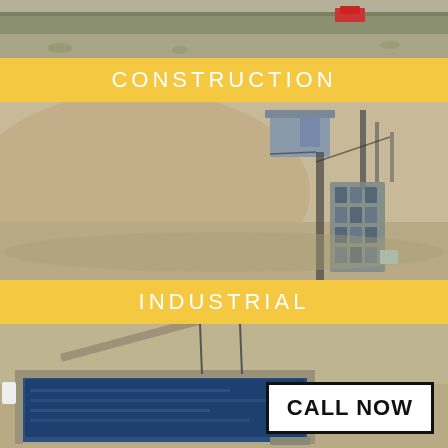[Figure (photo): Aerial drone photo of a road or industrial site with truck visible]
CONSTRUCTION
[Figure (photo): Aerial drone photo of industrial construction site with equipment stacks and sandy/earthen terrain]
INDUSTRIAL
[Figure (photo): Aerial drone photo of an industrial pond or water containment facility in arid terrain with a CALL NOW button overlay]
CALL NOW